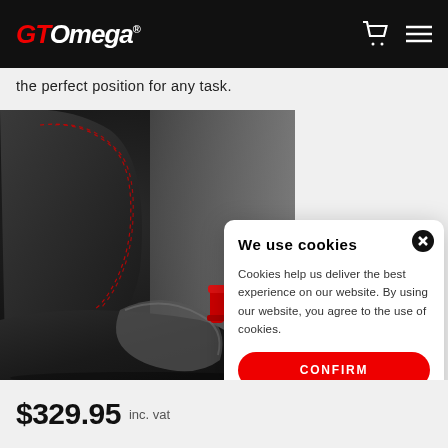GT Omega (logo)
the perfect position for any task.
[Figure (photo): Close-up photo of a GT Omega gaming chair showing black upholstery with red stitching and a red recliner lever/mechanism on the side of the seat.]
We use cookies

Cookies help us deliver the best experience on our website. By using our website, you agree to the use of cookies.

CONFIRM
$329.95 inc. vat